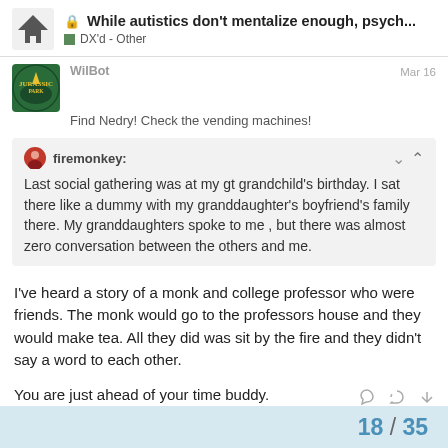While autistics don't mentalize enough, psych... | DX'd - Other
Find Nedry! Check the vending machines!
firemonkey: Last social gathering was at my gt grandchild's birthday. I sat there like a dummy with my granddaughter's boyfriend's family there. My granddaughters spoke to me , but there was almost zero conversation between the others and me.
I've heard a story of a monk and college professor who were friends. The monk would go to the professors house and they would make tea. All they did was sit by the fire and they didn't say a word to each other.
You are just ahead of your time buddy.
18 / 35